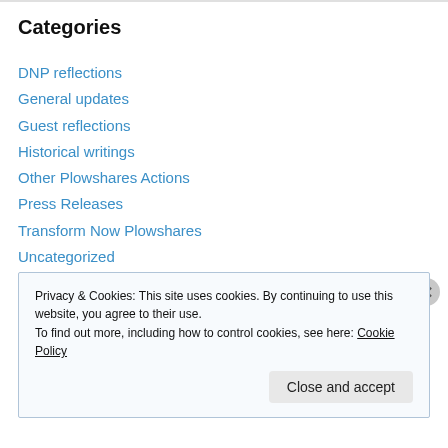Categories
DNP reflections
General updates
Guest reflections
Historical writings
Other Plowshares Actions
Press Releases
Transform Now Plowshares
Uncategorized
Videos/Photos/Audio
Y-12
Privacy & Cookies: This site uses cookies. By continuing to use this website, you agree to their use. To find out more, including how to control cookies, see here: Cookie Policy
Close and accept